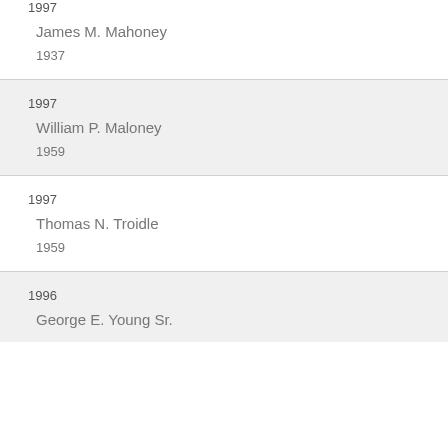1997
James M. Mahoney
1937
1997
William P. Maloney
1959
1997
Thomas N. Troidle
1959
1996
George E. Young Sr.